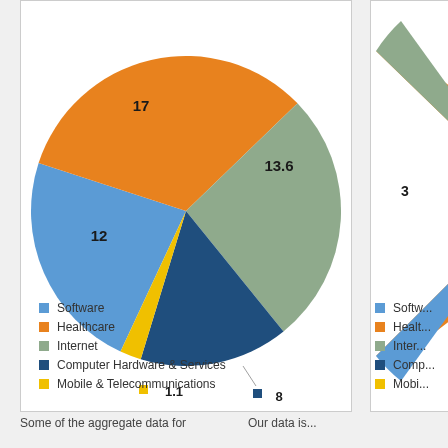[Figure (pie-chart): Sector breakdown (left chart)]
[Figure (pie-chart): Sector breakdown (right chart, partial)]
Some of the aggregate data for
Our data is...